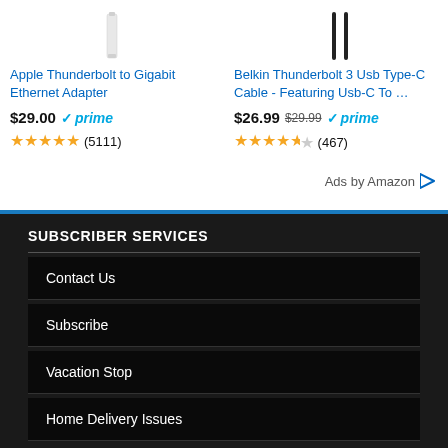[Figure (photo): Apple Thunderbolt to Gigabit Ethernet Adapter product image (white adapter)]
Apple Thunderbolt to Gigabit Ethernet Adapter
$29.00 ✓prime ★★★★★ (5111)
[Figure (photo): Belkin Thunderbolt 3 USB Type-C Cable product image (black cable)]
Belkin Thunderbolt 3 Usb Type-C Cable - Featuring Usb-C To …
$26.99 $29.99 ✓prime ★★★★½ (467)
Ads by Amazon
SUBSCRIBER SERVICES
Contact Us
Subscribe
Vacation Stop
Home Delivery Issues
HELP / SUBMISSIONS